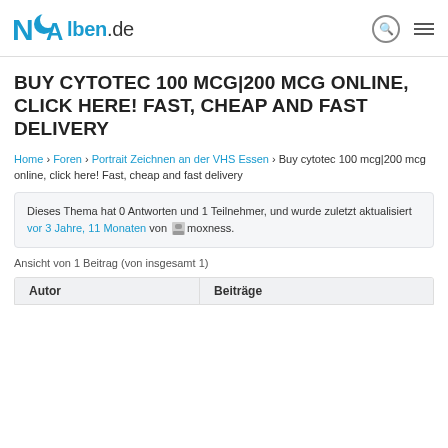NqAlben.de
BUY CYTOTEC 100 MCG|200 MCG ONLINE, CLICK HERE! FAST, CHEAP AND FAST DELIVERY
Home › Foren › Portrait Zeichnen an der VHS Essen › Buy cytotec 100 mcg|200 mcg online, click here! Fast, cheap and fast delivery
Dieses Thema hat 0 Antworten und 1 Teilnehmer, und wurde zuletzt aktualisiert vor 3 Jahre, 11 Monaten von moxness.
Ansicht von 1 Beitrag (von insgesamt 1)
| Autor | Beiträge |
| --- | --- |